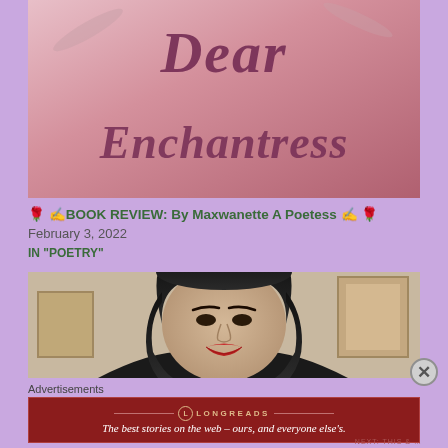[Figure (photo): Book cover image with cursive text reading 'Dear Enchantress' on a pink-rose gradient background]
🌹 ✍️BOOK REVIEW: By Maxwanette A Poetess ✍️ 🌹
February 3, 2022
IN "POETRY"
[Figure (photo): Portrait photo of a woman with dark hair, red lipstick, wearing a black top, smiling at camera]
Advertisements
[Figure (other): Longreads advertisement banner with red background. Text: LONGREADS — The best stories on the web – ours, and everyone else's.]